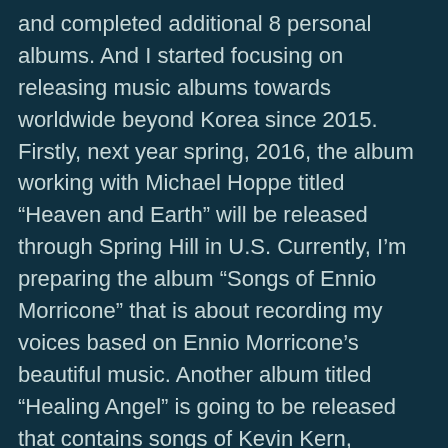and completed additional 8 personal albums. And I started focusing on releasing music albums towards worldwide beyond Korea since 2015. Firstly, next year spring, 2016, the album working with Michael Hoppe titled “Heaven and Earth” will be released through Spring Hill in U.S. Currently, I’m preparing the album “Songs of Ennio Morricone” that is about recording my voices based on Ennio Morricone’s beautiful music. Another album titled “Healing Angel” is going to be released that contains songs of Kevin Kern, Chopin, Andre Gagnon and so on. After that I’m planning to write a song in 2016. The musical subject coming from Janinto’s persue is freedom, travel, benevolence and peace. In order to express them, I use warm and abundant harmony, and